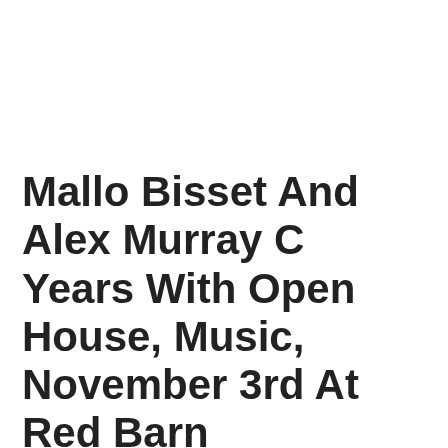Mallo Bisset And Alex Murray C… Years With Open House, Music, November 3rd At Red Barn Furniture/Gallery
Posted on October 29th, 2018 • Category: Acrylic, Art, Art Events in Martin Spaces, Galleries, Local News and Events, Mixed Media, Oil, Pastel/Drawni… Barn Furniture and Art, Water Color
Celebrate 30 years of business and artistic creativity with Mallo… daughter, Alex Murray at Red Barn Furniture/Gallery in Stuart! … with all mediums of painting compliments Alex's unlimited varia… Stop by for free music, all kinds of art, food and door prizes. P…